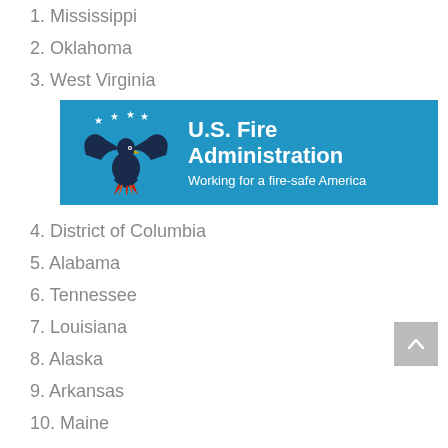1. Mississippi
2. Oklahoma
3. West Virginia
[Figure (logo): U.S. Fire Administration logo on blue banner. Eagle with stars above, text 'U.S. Fire Administration' and 'Working for a fire-safe America']
4. District of Columbia
5. Alabama
6. Tennessee
7. Louisiana
8. Alaska
9. Arkansas
10. Maine